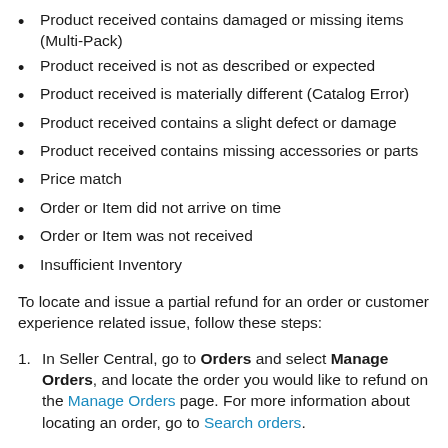Product received contains damaged or missing items (Multi-Pack)
Product received is not as described or expected
Product received is materially different (Catalog Error)
Product received contains a slight defect or damage
Product received contains missing accessories or parts
Price match
Order or Item did not arrive on time
Order or Item was not received
Insufficient Inventory
To locate and issue a partial refund for an order or customer experience related issue, follow these steps:
In Seller Central, go to Orders and select Manage Orders, and locate the order you would like to refund on the Manage Orders page. For more information about locating an order, go to Search orders.